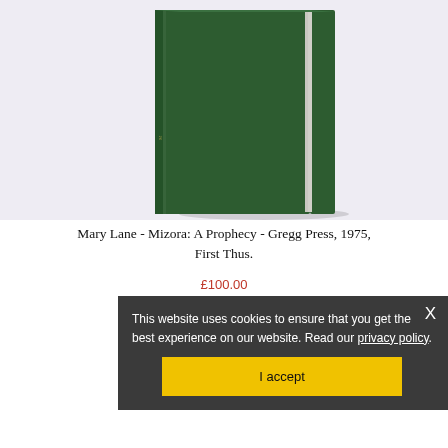[Figure (photo): A dark green hardcover book standing upright, photographed against a light lavender/white background. The book spine shows a slight gold marking.]
Mary Lane - Mizora: A Prophecy - Gregg Press, 1975, First Thus.
£100.00
This website uses cookies to ensure that you get the best experience on our website. Read our privacy policy.
I accept